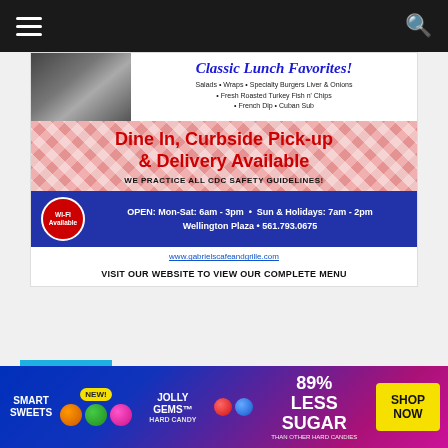Navigation bar with hamburger menu and search icon
[Figure (infographic): Restaurant advertisement for Gabriel's Cafe and Grille featuring Classic Lunch Favorites, checkered tablecloth background, blue info bar with Wi-Fi badge showing hours, and website link]
Categories
Select Category
[Figure (infographic): Smart Sweets advertisement for Jolly Gems Hard Candy - 89% Less Sugar than other hard candies, with Shop Now button]